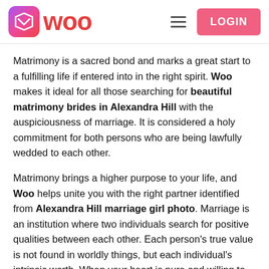WOO — LOGIN
Matrimony is a sacred bond and marks a great start to a fulfilling life if entered into in the right spirit. Woo makes it ideal for all those searching for beautiful matrimony brides in Alexandra Hill with the auspiciousness of marriage. It is considered a holy commitment for both persons who are being lawfully wedded to each other.
Matrimony brings a higher purpose to your life, and Woo helps unite you with the right partner identified from Alexandra Hill marriage girl photo. Marriage is an institution where two individuals search for positive qualities between each other. Each person's true value is not found in worldly things, but each individual's intrinsic worth. When your heart is pure and willing to sacrifice for another person, you will join the dots and see that your life from the start is meant to be devoted to serving one another.